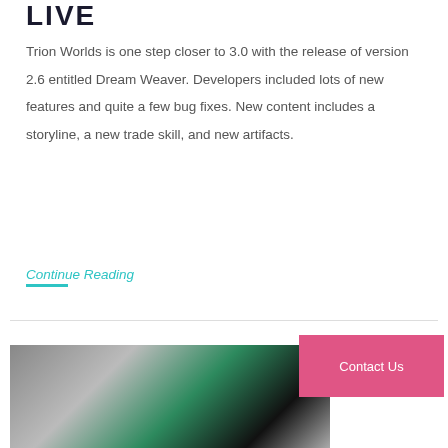LIVE
Trion Worlds is one step closer to 3.0 with the release of version 2.6 entitled Dream Weaver. Developers included lots of new features and quite a few bug fixes. New content includes a storyline, a new trade skill, and new artifacts.
Continue Reading
[Figure (photo): A horizontal photo strip showing what appears to be aerial or close-up images including a green circuit board section and various textures.]